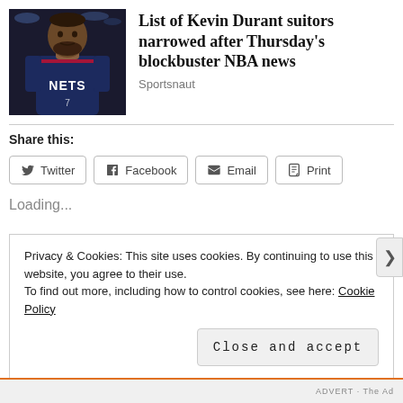[Figure (photo): Kevin Durant in Brooklyn Nets jersey, dark background with basketball court lights]
List of Kevin Durant suitors narrowed after Thursday's blockbuster NBA news
Sportsnaut
Share this:
Twitter  Facebook  Email  Print
Loading...
Privacy & Cookies: This site uses cookies. By continuing to use this website, you agree to their use.
To find out more, including how to control cookies, see here: Cookie Policy
Close and accept